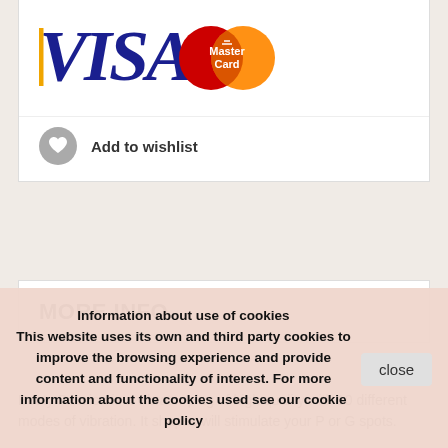[Figure (logo): VISA and MasterCard payment logos side by side]
Add to wishlist
MORE INFO
Booty Passion is a vibrator plug of high quality with 10 different modes of vibration. It shapes will stimulate your P or G spots.
Information about use of cookies
This website uses its own and third party cookies to improve the browsing experience and provide content and functionality of interest. For more information about the cookies used see our cookie policy